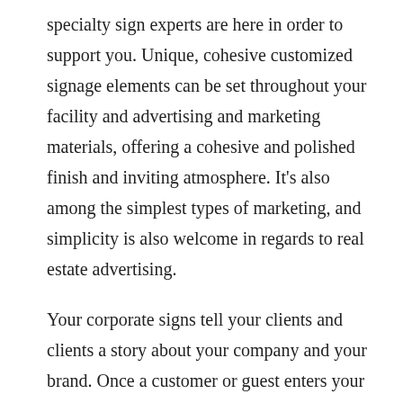specialty sign experts are here in order to support you. Unique, cohesive customized signage elements can be set throughout your facility and advertising and marketing materials, offering a cohesive and polished finish and inviting atmosphere. It's also among the simplest types of marketing, and simplicity is also welcome in regards to real estate advertising.
Your corporate signs tell your clients and clients a story about your company and your brand. Once a customer or guest enters your DFW business, they're going to be searching for information about any selection of things. All our clients deserve premier support. Built to be extremely visible, post and panel signs are quickly turning into one of the